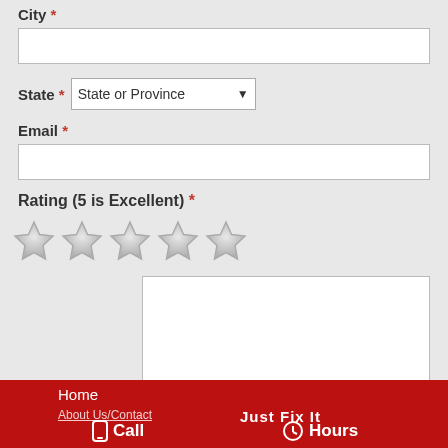City *
State * State or Province (dropdown)
Email *
Rating (5 is Excellent) * [5 empty stars]
Comments *
* Fields marked with an asterisk are required.
Submit!
Home | Just Fix It | Call | Hours